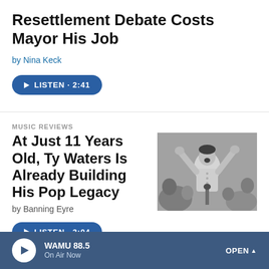Resettlement Debate Costs Mayor His Job
by Nina Keck
[Figure (other): Listen button: play icon, LISTEN · 2:41]
MUSIC REVIEWS
At Just 11 Years Old, Ty Waters Is Already Building His Pop Legacy
[Figure (photo): Black and white photo of a young boy singing into a microphone with arms raised, crowd in background]
by Banning Eyre
[Figure (other): Listen button: play icon, LISTEN · 3:04]
WAMU 88.5 On Air Now  OPEN ^